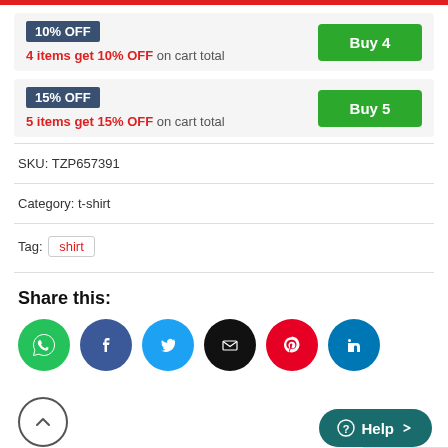10% OFF — 4 items get 10% OFF on cart total — Buy 4
15% OFF — 5 items get 15% OFF on cart total — Buy 5
SKU: TZP657391
Category: t-shirt
Tag: shirt
Share this:
[Figure (infographic): Six social share icon circles: WhatsApp (green), Facebook (blue), Twitter (light blue), Email (black), Pinterest (red), LinkedIn (blue)]
[Figure (infographic): Scroll-to-top circle button with upward chevron, and a Help button (teal pill) with question mark and 'Help' label]